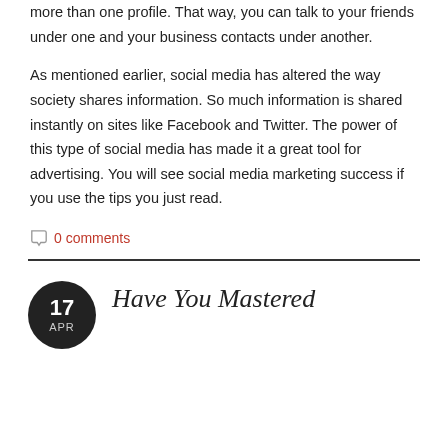more than one profile. That way, you can talk to your friends under one and your business contacts under another.
As mentioned earlier, social media has altered the way society shares information. So much information is shared instantly on sites like Facebook and Twitter. The power of this type of social media has made it a great tool for advertising. You will see social media marketing success if you use the tips you just read.
0 comments
Have You Mastered